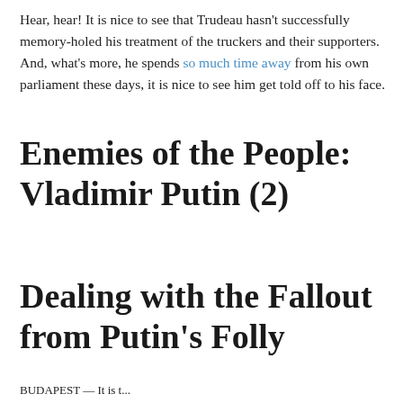Hear, hear! It is nice to see that Trudeau hasn't successfully memory-holed his treatment of the truckers and their supporters. And, what's more, he spends so much time away from his own parliament these days, it is nice to see him get told off to his face.
Enemies of the People: Vladimir Putin (2)
Dealing with the Fallout from Putin's Folly
BUDAPEST — It is t...